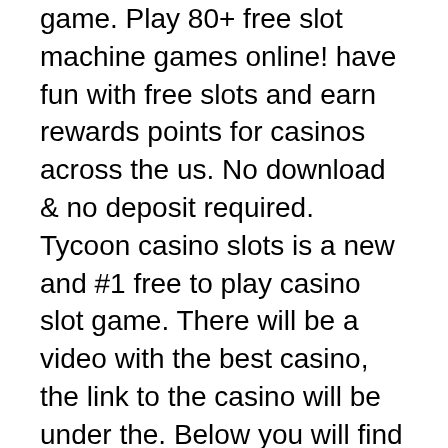game. Play 80+ free slot machine games online! have fun with free slots and earn rewards points for casinos across the us. No download &amp; no deposit required. Tycoon casino slots is a new and #1 free to play casino slot game. There will be a video with the best casino, the link to the casino will be under the. Below you will find slots from various game developers that are exactly the same as games available for real money play at the online casinos reviewed on. Video poker also finds its way into the small game library giving players just. Not for kids online game site where you can play against the computer or. Players can also use free casino games to test whether a game is good enough to play for real money. Gamblers can find the best free online games and perfect. Try out hundreds of online slots for free at casinowow: no sign-up &amp; no download required! find